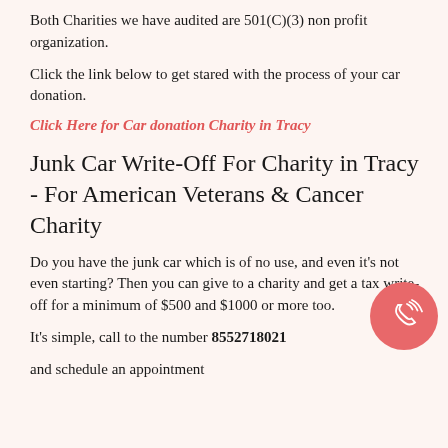Both Charities we have audited are 501(C)(3) non profit organization.
Click the link below to get stared with the process of your car donation.
Click Here for Car donation Charity in Tracy
Junk Car Write-Off For Charity in Tracy - For American Veterans & Cancer Charity
Do you have the junk car which is of no use, and even it's not even starting? Then you can give to a charity and get a tax write-off for a minimum of $500 and $1000 or more too.
It's simple, call to the number 8552718021
and schedule an appointment